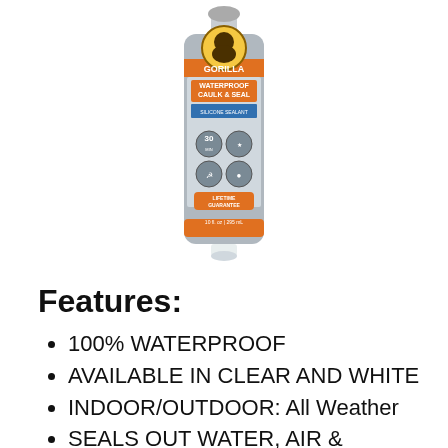[Figure (photo): A tube/cartridge of Gorilla Waterproof Caulk & Seal product with orange and gray label, lifetime guarantee badge visible on the front.]
Features:
100% WATERPROOF
AVAILABLE IN CLEAR AND WHITE
INDOOR/OUTDOOR: All Weather
SEALS OUT WATER, AIR & MOISTURE
WON'T YELLOW, SHRINK OR CRACK